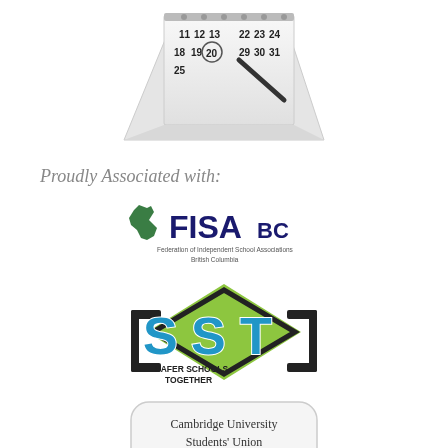[Figure (illustration): Calendar with magnifying glass circling a date, showing numbers 11-31 visible]
Proudly Associated with:
[Figure (logo): FISA BC - Federation of Independent School Associations British Columbia logo with BC province outline in green]
[Figure (logo): SST - Safer Schools Together logo with blue letters and green diamond shape]
[Figure (logo): Cambridge University Students' Union logo, partially visible at bottom]